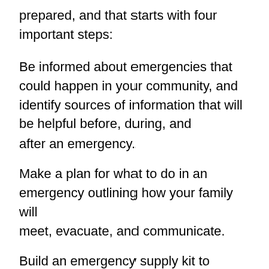prepared, and that starts with four important steps:
Be informed about emergencies that could happen in your community, and identify sources of information that will be helpful before, during, and after an emergency.
Make a plan for what to do in an emergency outlining how your family will meet, evacuate, and communicate.
Build an emergency supply kit to support family and pets for a minimum of 3 days.